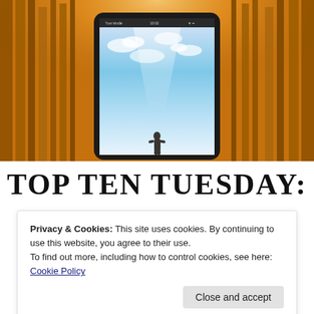[Figure (photo): A tablet device displaying a book cover with a female silhouette against a bright sky, set against a warm orange/golden autumn forest background]
TOP TEN TUESDAY:
Privacy & Cookies: This site uses cookies. By continuing to use this website, you agree to their use.
To find out more, including how to control cookies, see here: Cookie Policy
Close and accept